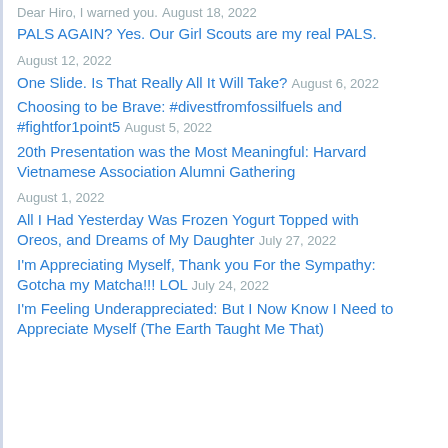PALS AGAIN? Yes. Our Girl Scouts are my real PALS. August 18, 2022 (partial/cropped at top)
PALS AGAIN? Yes. Our Girl Scouts are my real PALS.
August 12, 2022
One Slide. Is That Really All It Will Take? August 6, 2022
Choosing to be Brave: #divestfromfossilfuels and #fightfor1point5 August 5, 2022
20th Presentation was the Most Meaningful: Harvard Vietnamese Association Alumni Gathering
August 1, 2022
All I Had Yesterday Was Frozen Yogurt Topped with Oreos, and Dreams of My Daughter July 27, 2022
I'm Appreciating Myself, Thank you For the Sympathy: Gotcha my Matcha!!! LOL July 24, 2022
I'm Feeling Underappreciated: But I Now Know I Need to Appreciate Myself (The Earth Taught Me That)